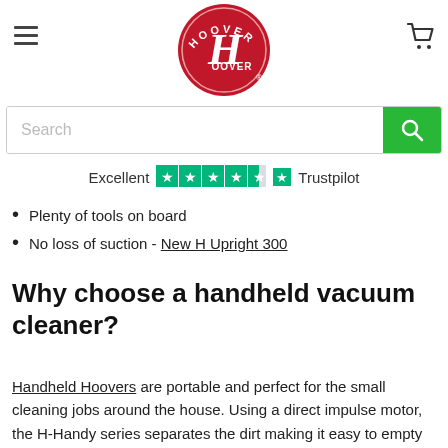Hoover logo, hamburger menu, cart icon
[Figure (logo): Hoover logo — red circular badge with stylized H and 'HOOVER' text in white]
[Figure (other): Search bar with placeholder text 'Search' and green search button]
[Figure (other): Trustpilot rating bar showing 'Excellent' with 4.5 green stars and Trustpilot logo]
Plenty of tools on board
No loss of suction - New H Upright 300
Why choose a handheld vacuum cleaner?
Handheld Hoovers are portable and perfect for the small cleaning jobs around the house. Using a direct impulse motor, the H-Handy series separates the dirt making it easy to empty the bin. With a generous 12 minutes run time and a 2 hour fully